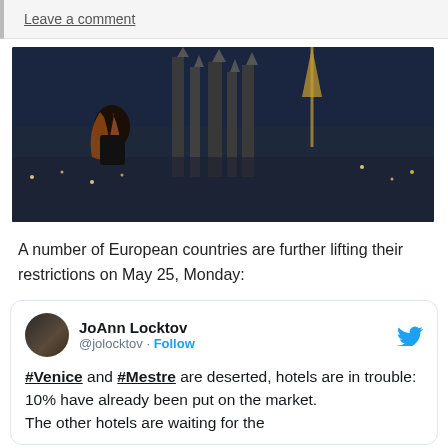Leave a comment
[Figure (photo): Nighttime panoramic photo of a European city with a large illuminated Gothic cathedral (Sagrada Família style) in the center, a woman with long red hair seen from behind looking at the view.]
A number of European countries are further lifting their restrictions on May 25, Monday:
JoAnn Locktov @jolocktov · Follow
#Venice and #Mestre are deserted, hotels are in trouble:
10% have already been put on the market.
The other hotels are waiting for the